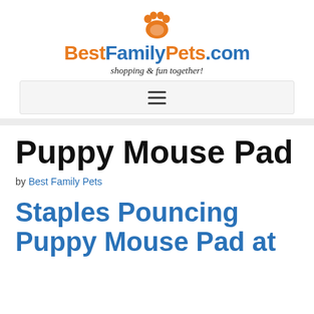BestFamilyPets.com — shopping & fun together!
[Figure (logo): BestFamilyPets.com logo with orange paw print above the site name and tagline 'shopping & fun together!']
Puppy Mouse Pad
by Best Family Pets
Staples Pouncing Puppy Mouse Pad at